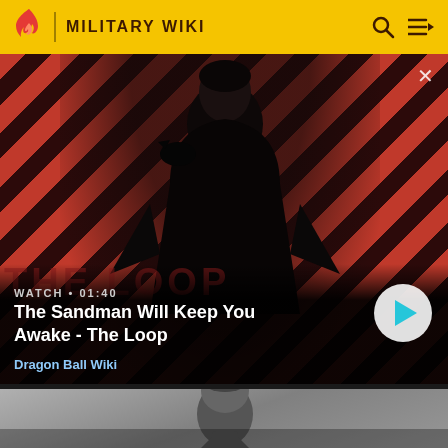MILITARY WIKI
[Figure (screenshot): Video thumbnail showing a dark-dressed person with a black bird/crow on their shoulder against a red and black diagonal striped background. The Sandman promotional art for 'The Loop'. Watch time shown as 01:40. Play button visible on right side. Source label 'Dragon Ball Wiki' shown at bottom.]
WATCH • 01:40
The Sandman Will Keep You Awake - The Loop
Dragon Ball Wiki
[Figure (photo): Partial view of a black and white or desaturated photo showing a young man's face/head against a grey sky background.]